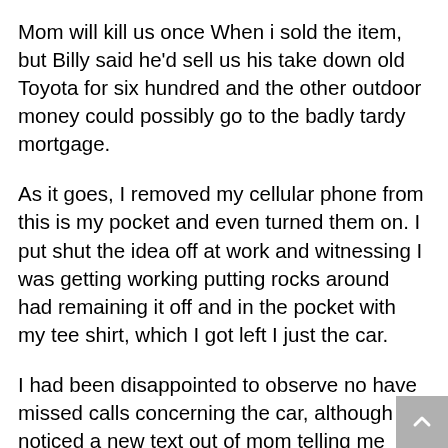Mom will kill us once When i sold the item, but Billy said he'd sell us his take down old Toyota for six hundred and the other outdoor money could possibly go to the badly tardy mortgage.
As it goes, I removed my cellular phone from this is my pocket and even turned them on. I put shut the idea off at work and witnessing I was getting working putting rocks around had remaining it off and in the pocket with my tee shirt, which I got left I just the car.
I had been disappointed to observe no have missed calls concerning the car, although noticed a new text out of mom telling me things i had suspected; she was basically working. My eyes widened and our stomach knotted when I witnessed the rest of it again, "The credit history union known as and I am going there prior to a club, I will talk to an